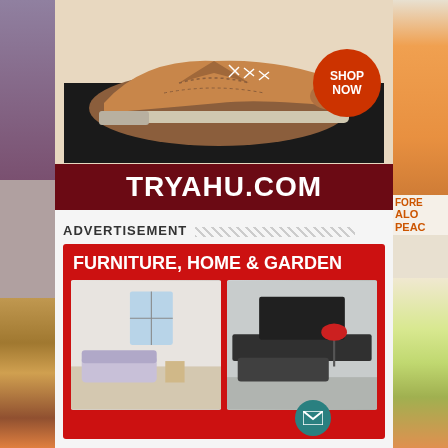[Figure (photo): Left sidebar strip showing partial view of food/salad and wooden surface]
[Figure (photo): Brown leather brogue shoe advertisement with SHOP NOW button and TRYAHU.COM banner]
[Figure (photo): Right sidebar strip showing Forever Aloe Peach product and vegetables]
ADVERTISEMENT
[Figure (infographic): Red furniture advertisement banner: FURNITURE, HOME & GARDEN - SAVE UP TO 30% OFF - showing two room interior photos]